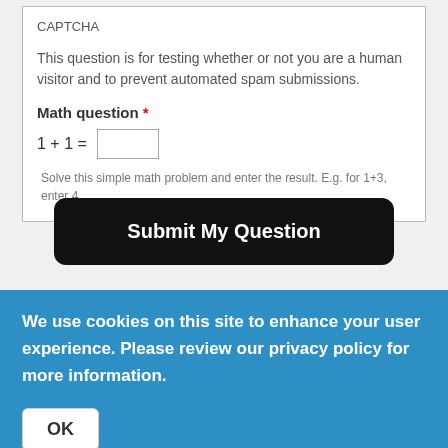CAPTCHA
This question is for testing whether or not you are a human visitor and to prevent automated spam submissions.
Math question *
Solve this simple math problem and enter the result. E.g. for 1+3, enter 4.
Submit My Question
We use cookies on this site to enhance your user experience. Please review our privacy policy for more information.
OK